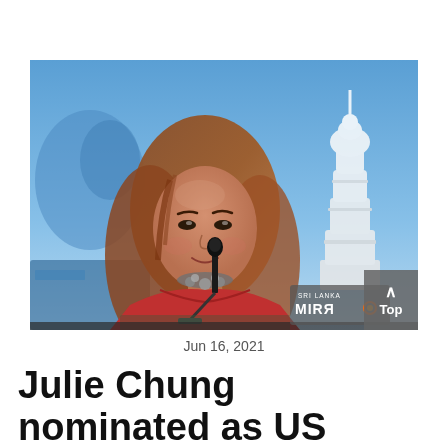[Figure (photo): A woman with long brown hair, wearing a red outfit and a statement necklace, speaking at a microphone at a press conference or formal event. The background shows a blue sky and a white decorative structure (stupa or tower). A 'Sri Lanka Mirror' watermark logo is visible in the bottom right corner of the image. A grey 'Top' scroll button overlaps the bottom-right.]
Jun 16, 2021
Julie Chung nominated as US ambassador to Sri Featured